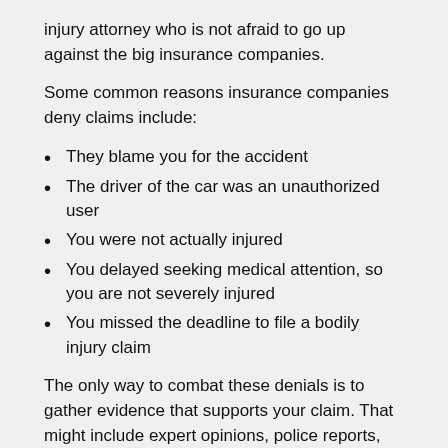injury attorney who is not afraid to go up against the big insurance companies.
Some common reasons insurance companies deny claims include:
They blame you for the accident
The driver of the car was an unauthorized user
You were not actually injured
You delayed seeking medical attention, so you are not severely injured
You missed the deadline to file a bodily injury claim
The only way to combat these denials is to gather evidence that supports your claim. That might include expert opinions, police reports, eyewitness statements, and evidence from the scene. You will also need medical records and bills to prove your injuries.
South Carolina Personal